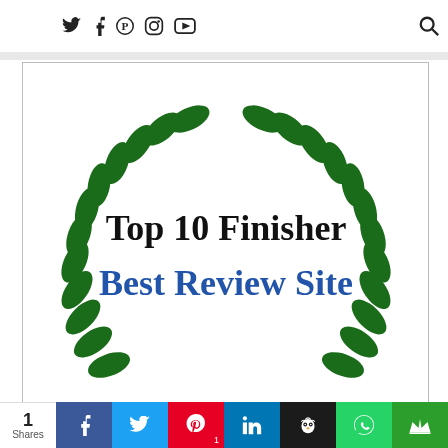Social media and search icons navigation bar
[Figure (illustration): Award badge with green laurel wreath on both sides. Center text reads 'Top 10 Finisher' in black serif font and 'Best Review Site' in blue serif font on white background.]
1 Shares — share buttons: Facebook, Twitter, Pinterest (1), LinkedIn, Hootsuite, WhatsApp, Crown